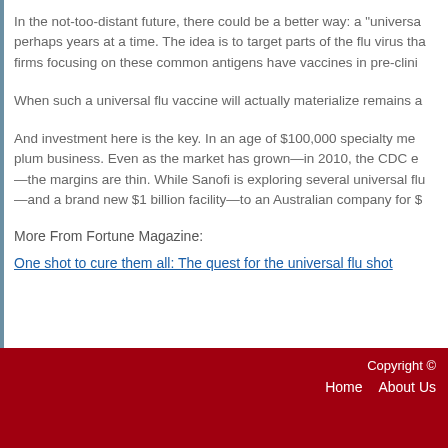In the not-too-distant future, there could be a better way: a "universal flu vaccine" that might protect perhaps years at a time. The idea is to target parts of the flu virus tha... firms focusing on these common antigens have vaccines in pre-clini...
When such a universal flu vaccine will actually materialize remains a...
And investment here is the key. In an age of $100,000 specialty med... plum business. Even as the market has grown—in 2010, the CDC e... —the margins are thin. While Sanofi is exploring several universal flu... —and a brand new $1 billion facility—to an Australian company for $...
More From Fortune Magazine:
One shot to cure them all: The quest for the universal flu shot
Copyright © | Home | About Us